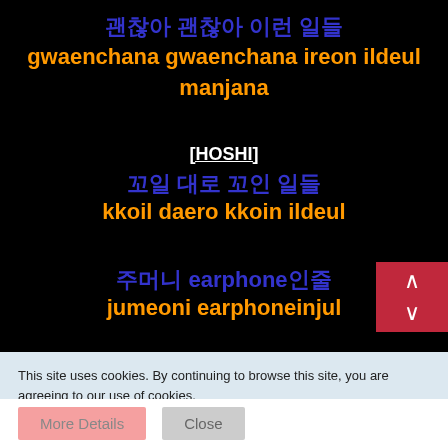괜찮아 괜찮아 이런 일들
gwaenchana gwaenchana ireon ildeul manjana
[HOSHI]
꼬일 대로 꼬인 일들
kkoil daero kkoin ildeul
주머니 earphone인줄
jumeoni earphoneinjul
This site uses cookies. By continuing to browse this site, you are agreeing to our use of cookies.
More Details
Close